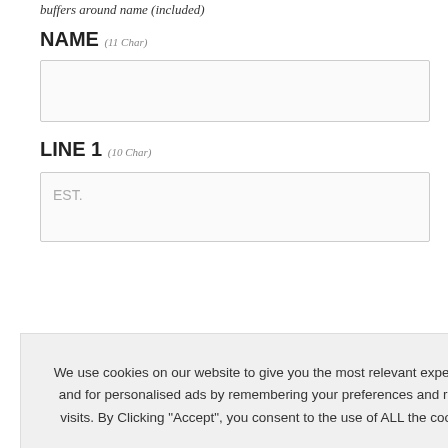buffers around name (included)
NAME (11 Char)
[Figure (other): Empty text input field for NAME]
LINE 1 (10 Char)
[Figure (other): Text input field for LINE 1 with placeholder text EST.]
We use cookies on our website to give you the most relevant experience and for personalised ads by remembering your preferences and repeat visits. By Clicking "Accept", you consent to the use of ALL the cookies.
YES, I ACCEPT
More Info